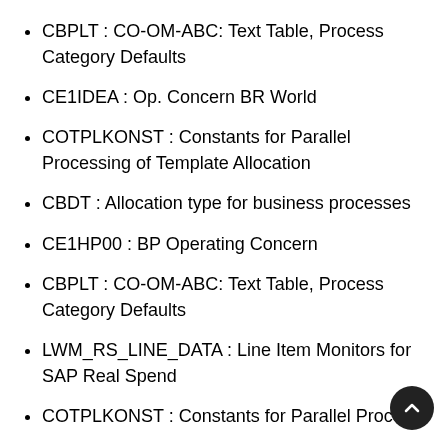CBPLT : CO-OM-ABC: Text Table, Process Category Defaults
CE1IDEA : Op. Concern BR World
COTPLKONST : Constants for Parallel Processing of Template Allocation
CBDT : Allocation type for business processes
CE1HP00 : BP Operating Concern
CBPLT : CO-OM-ABC: Text Table, Process Category Defaults
LWM_RS_LINE_DATA : Line Item Monitors for SAP Real Spend
COTPLKONST : Constants for Parallel Processi…